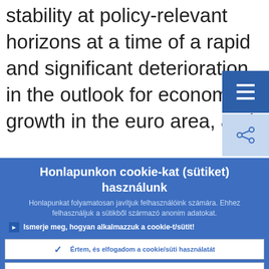stability at policy-relevant horizons at a time of a rapid and significant deterioration in the outlook for economic growth in the euro area, and
Honlapunkon cookie-kat (sütiket) használunk
Honlapunkat folyamatosan javítjuk felhasználóink számára. Ehhez felhasználjuk a sütikből származó anonim adatokat.
Ismerje meg, hogyan alkalmazzuk a cookie-t/sütit!
Értem, és elfogadom a cookie/süti használatát
Visszautasítom a cookie/süti használatát